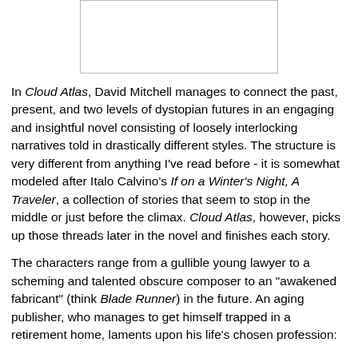[Figure (other): Empty white box with light gray border, likely placeholder for an image.]
In Cloud Atlas, David Mitchell manages to connect the past, present, and two levels of dystopian futures in an engaging and insightful novel consisting of loosely interlocking narratives told in drastically different styles. The structure is very different from anything I've read before - it is somewhat modeled after Italo Calvino's If on a Winter's Night, A Traveler, a collection of stories that seem to stop in the middle or just before the climax. Cloud Atlas, however, picks up those threads later in the novel and finishes each story.
The characters range from a gullible young lawyer to a scheming and talented obscure composer to an "awakened fabricant" (think Blade Runner) in the future. An aging publisher, who manages to get himself trapped in a retirement home, laments upon his life's chosen profession:
Why have you given your life to books, TC? Dull,